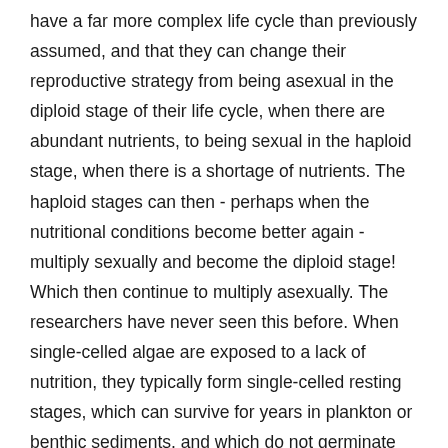have a far more complex life cycle than previously assumed, and that they can change their reproductive strategy from being asexual in the diploid stage of their life cycle, when there are abundant nutrients, to being sexual in the haploid stage, when there is a shortage of nutrients. The haploid stages can then - perhaps when the nutritional conditions become better again - multiply sexually and become the diploid stage! Which then continue to multiply asexually. The researchers have never seen this before. When single-celled algae are exposed to a lack of nutrition, they typically form single-celled resting stages, which can survive for years in plankton or benthic sediments, and which do not germinate until the conditions again become favourable.